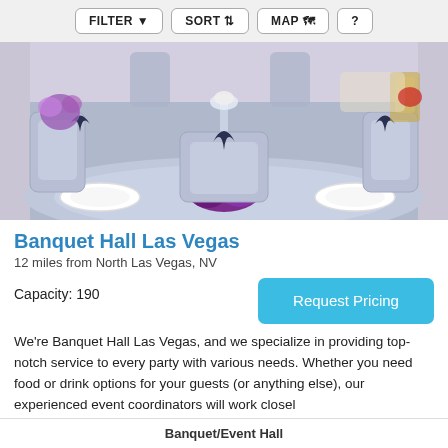FILTER   SORT   MAP   ?
[Figure (photo): Elegant banquet hall setup with silver draped chairs, white charger plates, purple napkins, crystal centerpieces, and floral decorations in a luxurious event space.]
Banquet Hall Las Vegas
12 miles from North Las Vegas, NV
Capacity: 190
Request Pricing
We're Banquet Hall Las Vegas, and we specialize in providing top-notch service to every party with various needs. Whether you need food or drink options for your guests (or anything else), our experienced event coordinators will work closel
Banquet/Event Hall